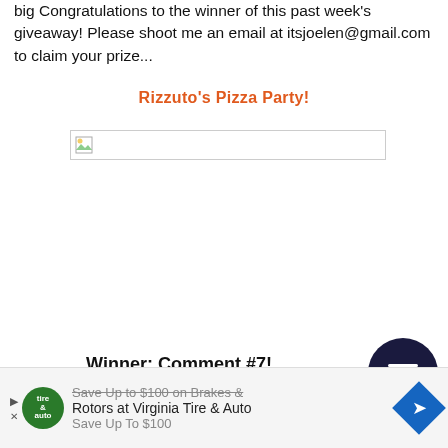big Congratulations to the winner of this past week's giveaway! Please shoot me an email at itsjoelen@gmail.com to claim your prize...
Rizzuto's Pizza Party!
[Figure (other): Broken image placeholder with small image icon]
Winner: Comment #7!
[Figure (other): Dark navy circular hamburger menu button with three horizontal white lines]
Save Up to $100 on Brakes & Rotors at Virginia Tire & Auto